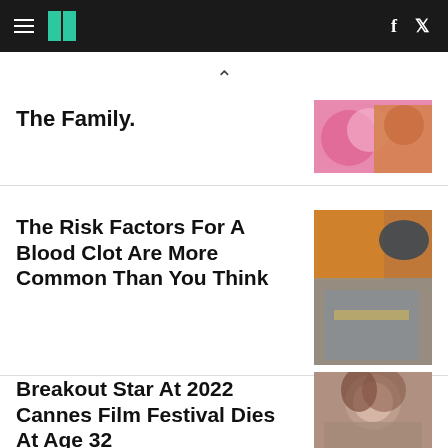HuffPost
The Family.
The Risk Factors For A Blood Clot Are More Common Than You Think
Breakout Star At 2022 Cannes Film Festival Dies At Age 32